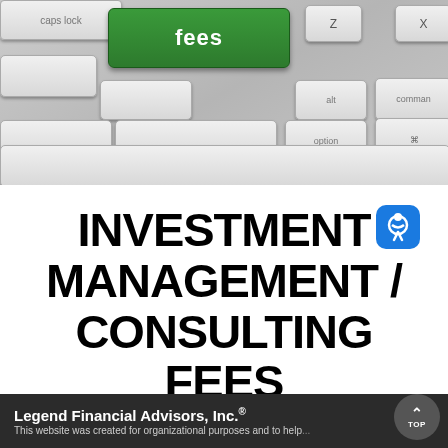[Figure (photo): Close-up photograph of a computer keyboard with a green key labeled 'fees' in white text, surrounded by standard gray keyboard keys including caps lock, z, x, alt, command, and option keys.]
INVESTMENT MANAGEMENT / CONSULTING FEES
Legend Financial Advisors, Inc.® This website was created for organizational purposes and to help...